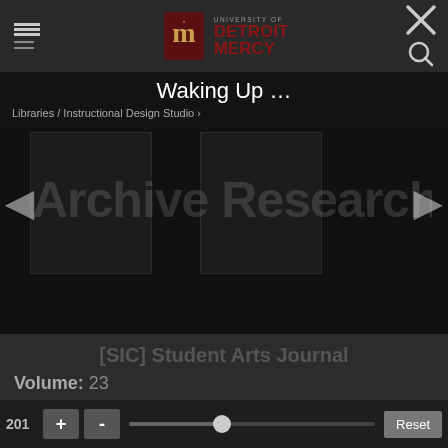University of Detroit Mercy — navigation header with menu icon, logo, close and search icons
Waking Up …
Libraries / Instructional Design Studio >
[Figure (screenshot): Dark slideshow panel with 'Archive Research Center' text visible in large light grey letters, left and right navigation arrows on either side]
[SIC] Student Arts Journal
Volume: 23
2010  +  -  [slider]  Reset